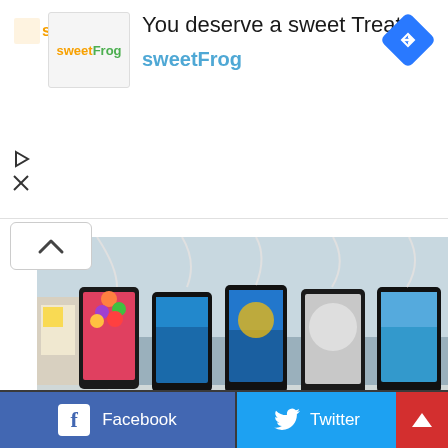[Figure (screenshot): Advertisement banner for sweetFrog frozen yogurt. Shows sweetFrog logo on left, headline 'You deserve a sweet Treat' and 'sweetFrog' in blue, and a blue diamond navigation icon on the right. Play and close icons on the left side below logo.]
[Figure (photo): Blurred photo of five smartphones displayed on a retail shelf, connected to charging cables. Phones show various screens including colorful apps and wallpapers.]
Chinese Smartphones Under Rs 12,000 Can Be Banned In India?...
Facebook  Twitter